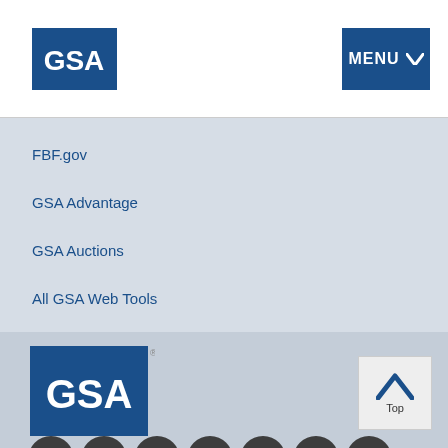[Figure (logo): GSA logo - blue square with white GSA text, top-left of header]
[Figure (other): MENU button with chevron, blue background, top-right of header]
FBF.gov
GSA Advantage
GSA Auctions
All GSA Web Tools
[Figure (logo): GSA logo - larger version in footer area, blue square with white GSA text and registered trademark symbol]
[Figure (other): Back to top button with upward chevron arrow and 'Top' label]
[Figure (other): Social media icons row: Facebook, Twitter, LinkedIn, YouTube, Instagram, blog/RSS, Email]